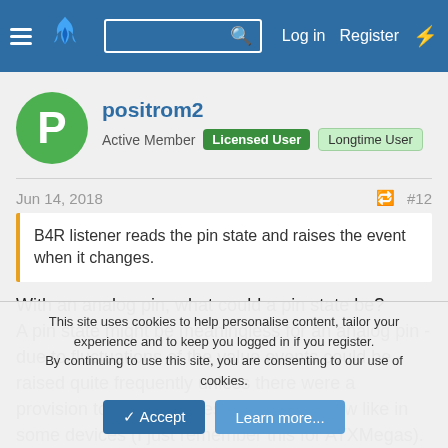[Figure (screenshot): Forum navigation bar with hamburger menu, flame logo, search box, Log in, Register, and bolt icon links]
positrom2
Active Member  Licensed User  Longtime User
Jun 14, 2018  #12
B4R listener reads the pin state and raises the event when it changes.
With an analog pin, what could a pin state be?
A pin state might be meaningless for an analog pin - due to fluctuations of the value events could be raised quite frequently unless there were a provision to define a threshold or a window like in some devices (I just remember this for ATXMegas).
This site uses cookies to help personalise content, tailor your experience and to keep you logged in if you register.
By continuing to use this site, you are consenting to our use of cookies.